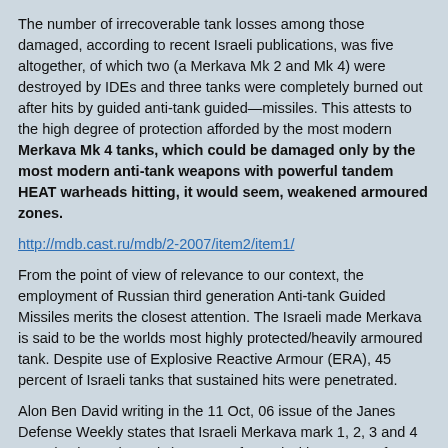The number of irrecoverable tank losses among those damaged, according to recent Israeli publications, was five altogether, of which two (a Merkava Mk 2 and Mk 4) were destroyed by IDEs and three tanks were completely burned out after hits by guided anti-tank guided—missiles. This attests to the high degree of protection afforded by the most modern Merkava Mk 4 tanks, which could be damaged only by the most modern anti-tank weapons with powerful tandem HEAT warheads hitting, it would seem, weakened armoured zones.
http://mdb.cast.ru/mdb/2-2007/item2/item1/
From the point of view of relevance to our context, the employment of Russian third generation Anti-tank Guided Missiles merits the closest attention. The Israeli made Merkava is said to be the worlds most highly protected/heavily armoured tank. Despite use of Explosive Reactive Armour (ERA), 45 percent of Israeli tanks that sustained hits were penetrated.
Alon Ben David writing in the 11 Oct, 06 issue of the Janes Defense Weekly states that Israeli Merkava mark 1, 2, 3 and 4 MBT (Main Battle Tanks) were confronted with an array of Russian ATGMS to include:
■Kornet E-9 P133 "This is claimed to be able to penetrate 1 to 1.2 metres of armour protected by ERA". This has a Semi Automatic Command Line of Sight laser beam riding guidance system and a range of 5km.